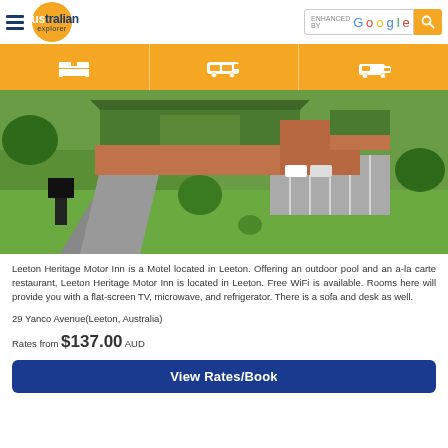Australian Explorer — ENHANCED BY Google
[Figure (photo): Aerial view of Leeton Heritage Motor Inn showing brick buildings with green roofs, parking area, driveway, and surrounding lawns and trees]
Leeton Heritage Motor Inn is a Motel located in Leeton. Offering an outdoor pool and an a-la carte restaurant, Leeton Heritage Motor Inn is located in Leeton. Free WiFi is available. Rooms here will provide you with a flat-screen TV, microwave, and refrigerator. There is a sofa and desk as well.
29 Yanco Avenue(Leeton, Australia)
Rates from $137.00 AUD
View Rates/Book